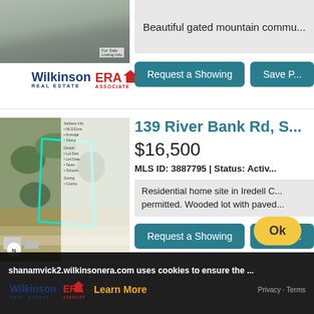[Figure (photo): Aerial or lot photo marked For Sale]
Beautiful gated mountain commu...
Request a Showing
Save P...
[Figure (logo): Wilkinson ERA Real Estate logo]
[Figure (photo): Aerial map view of lot at 139 River Bank Rd with teal boundary outline]
139 River Bank Rd, S...
$16,500
MLS ID: 3887795 | Status: Activ...
Residential home site in Iredell C... permitted. Wooded lot with paved...
Request a Showing
Save P...
shanamvick2.wilkinsonera.com uses cookies to ensure the ...
[Figure (logo): Wilkinson ERA Real Estate logo (bottom cookie bar)]
Learn More
Privacy - Terms
Ok